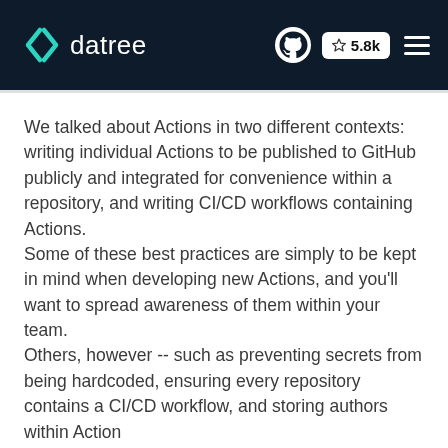datree | GitHub 5.8k
We talked about Actions in two different contexts: writing individual Actions to be published to GitHub publicly and integrated for convenience within a repository, and writing CI/CD workflows containing Actions.
Some of these best practices are simply to be kept in mind when developing new Actions, and you'll want to spread awareness of them within your team.
Others, however -- such as preventing secrets from being hardcoded, ensuring every repository contains a CI/CD workflow, and storing authors within Action